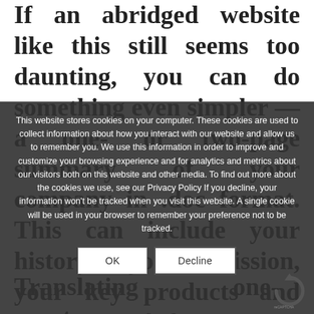If an abridged website like this still seems too daunting, you can do something even simpler — a one- or two-page summary of your company in .doc format. This can include your history, your mission, your key products and contact info. Your marketing information should be able to product what investors can find. If you need help, we have writers who can do it for you. And you can include a link to your main website for prospects who do understand more and want more.
This website stores cookies on your computer. These cookies are used to collect information about how you interact with our website and allow us to remember you. We use this information in order to improve and customize your browsing experience and for analytics and metrics about our visitors both on this website and other media. To find out more about the cookies we use, see our Privacy Policy If you decline, your information won't be tracked when you visit this website. A single cookie will be used in your browser to remember your preference not to be tracked.
Translating one- or two-page